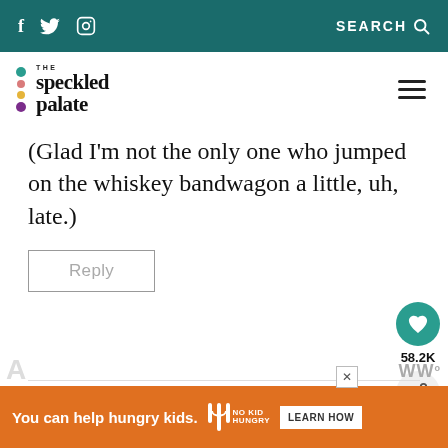f  Twitter  Instagram  SEARCH
[Figure (logo): The Speckled Palate logo with colorful dots and serif text]
(Glad I'm not the only one who jumped on the whiskey bandwagon a little, uh, late.)
Reply
58.2K
WHAT'S NEXT → Busted Pipe (Bourbon...
You can help hungry kids.  NO KID HUNGRY  LEARN HOW